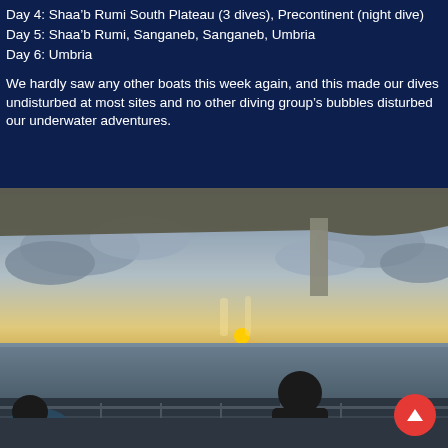Day 4: Shaa'b Rumi South Plateau (3 dives), Precontinent (night dive)
Day 5: Shaa'b Rumi, Sanganeb, Sanganeb, Umbria
Day 6: Umbria
We hardly saw any other boats this week again, and this made our dives undisturbed at most sites and no other diving group’s bubbles disturbed our underwater adventures.
[Figure (photo): A person standing on the deck of a boat watching a sunset over the ocean, viewed from under a canopy. Another person is partially visible in the lower left. The sky has dramatic clouds with orange and yellow light near the horizon.]